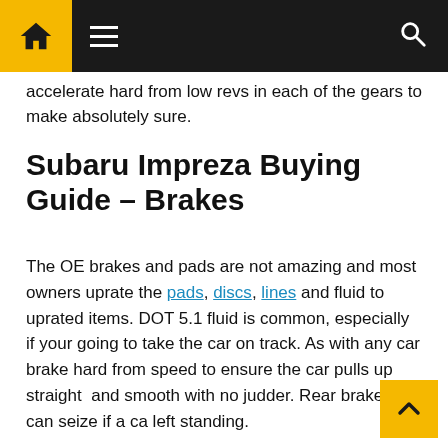Navigation bar with home icon, hamburger menu, and search icon
accelerate hard from low revs in each of the gears to make absolutely sure.
Subaru Impreza Buying Guide – Brakes
The OE brakes and pads are not amazing and most owners uprate the pads, discs, lines and fluid to uprated items. DOT 5.1 fluid is common, especially if your going to take the car on track. As with any car brake hard from speed to ensure the car pulls up straight  and smooth with no judder. Rear brakes can seize if a ca left standing.